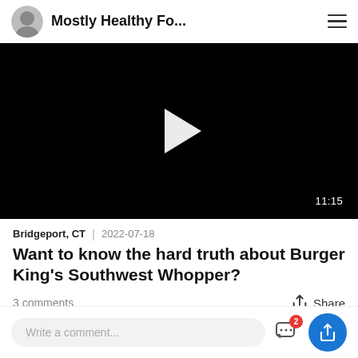Mostly Healthy Fo...
[Figure (screenshot): Black video thumbnail with white play button triangle in center and duration label 11:15 in bottom right corner]
Bridgeport, CT  |  2022-07-18
Want to know the hard truth about Burger King's Southwest Whopper?
3 comments
Share
Write a comment...